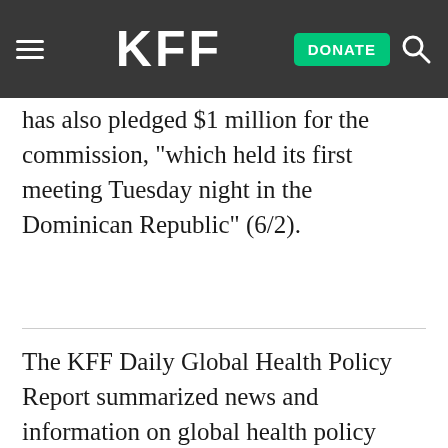KFF — DONATE [search icon]
has also pledged $1 million for the commission, “which held its first meeting Tuesday night in the Dominican Republic” (6/2).
The KFF Daily Global Health Policy Report summarized news and information on global health policy from hundreds of sources, from
This website stores cookies on your computer to collect information about how you interact with our website. We use this information in order to improve and customize your browsing experience and for analytics and metrics about our visitors both on this website and other media. To find out more about the cookies we use, see our Privacy Policy.
Accept